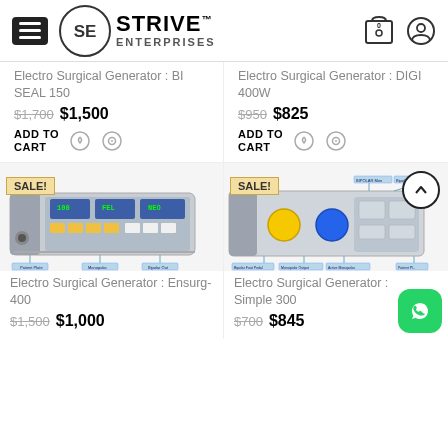STRIVE™ ENTERPRISES — navigation header with hamburger menu, logo, cart (0), and user icon
Electro Surgical Generator : BI SEAL 150
$1,700  $1,500
ADD TO CART
Electro Surgical Generator : DIGI 400W
$950  $825
ADD TO CART
[Figure (photo): Electro Surgical Generator Ensurg-400 device with SALE! badge]
Electro Surgical Generator : Ensurg- 400
$1,500  $1,000
[Figure (photo): Electro Surgical Generator Simple 300 device with SALE! badge and back-to-top arrow circle]
Electro Surgical Generator : Simple 300
$700  $845